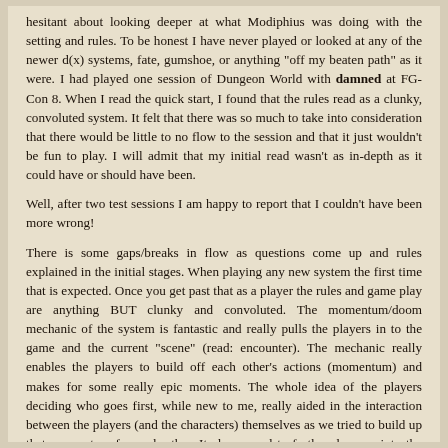hesitant about looking deeper at what Modiphius was doing with the setting and rules. To be honest I have never played or looked at any of the newer d(x) systems, fate, gumshoe, or anything "off my beaten path" as it were. I had played one session of Dungeon World with damned at FG-Con 8. When I read the quick start, I found that the rules read as a clunky, convoluted system. It felt that there was so much to take into consideration that there would be little to no flow to the session and that it just wouldn't be fun to play. I will admit that my initial read wasn't as in-depth as it could have or should have been.
Well, after two test sessions I am happy to report that I couldn't have been more wrong!
There is some gaps/breaks in flow as questions come up and rules explained in the initial stages. When playing any new system the first time that is expected. Once you get past that as a player the rules and game play are anything BUT clunky and convoluted. The momentum/doom mechanic of the system is fantastic and really pulls the players in to the game and the current "scene" (read: encounter). The mechanic really enables the players to build off each other's actions (momentum) and makes for some really epic moments. The whole idea of the players deciding who goes first, while new to me, really aided in the interaction between the players (and the characters) themselves as we tried to build up that momentum for each other. It also served to further draw us into the scene as it unfolded.
The system plays far more fluidly and quickly than it reads, especially as the players understand the mechanics. The ebb and flow of the tide of the game was really exciting to feel, and build really